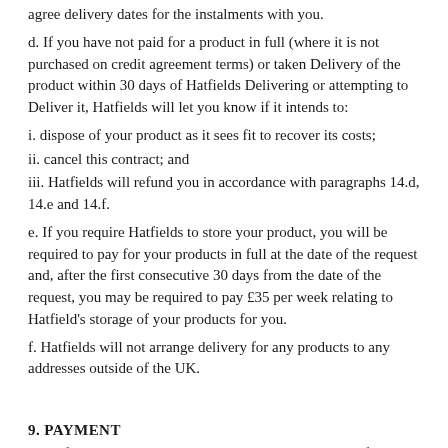agree delivery dates for the instalments with you.
d. If you have not paid for a product in full (where it is not purchased on credit agreement terms) or taken Delivery of the product within 30 days of Hatfields Delivering or attempting to Deliver it, Hatfields will let you know if it intends to:
i. dispose of your product as it sees fit to recover its costs;
ii. cancel this contract; and
iii. Hatfields will refund you in accordance with paragraphs 14.d, 14.e and 14.f.
e. If you require Hatfields to store your product, you will be required to pay for your products in full at the date of the request and, after the first consecutive 30 days from the date of the request, you may be required to pay £35 per week relating to Hatfield's storage of your products for you.
f. Hatfields will not arrange delivery for any products to any addresses outside of the UK.
9. PAYMENT
a. Hatfields accepts all major credit and debit cards. Hatfields will not